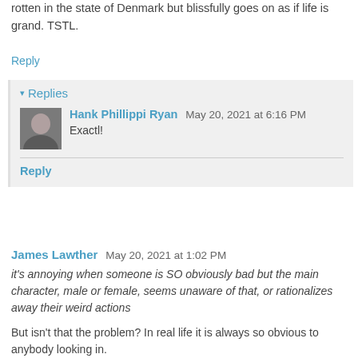rotten in the state of Denmark but blissfully goes on as if life is grand. TSTL.
Reply
▾ Replies
Hank Phillippi Ryan  May 20, 2021 at 6:16 PM
Exactl!
Reply
James Lawther  May 20, 2021 at 1:02 PM
it's annoying when someone is SO obviously bad but the main character, male or female, seems unaware of that, or rationalizes away their weird actions
But isn't that the problem? In real life it is always so obvious to anybody looking in.
Reply